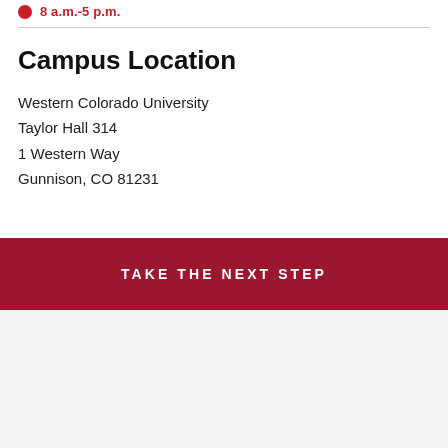8 a.m.-5 p.m.
Campus Location
Western Colorado University
Taylor Hall 314
1 Western Way
Gunnison, CO 81231
TAKE THE NEXT STEP